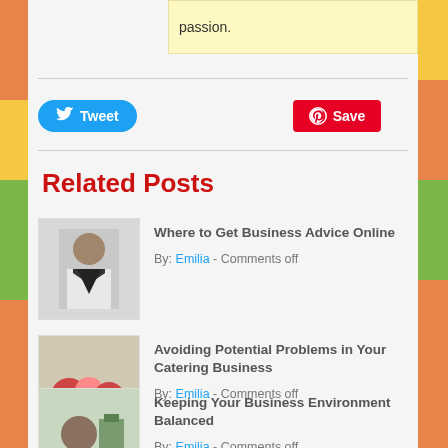passion.
[Figure (screenshot): Social sharing buttons: Tweet (Twitter/blue) and Save (Pinterest/red)]
Related Posts
Where to Get Business Advice Online
By: Emilia - Comments off
Avoiding Potential Problems in Your Catering Business
By: Emilia - Comments off
Keeping Your Business Environment Balanced
By: Emilia - Comments off